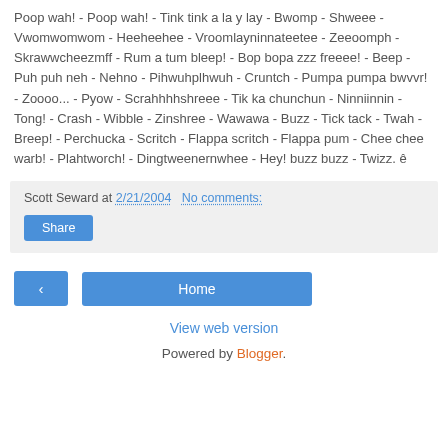Poop wah! - Poop wah! - Tink tink a la y lay - Bwomp - Shweee - Vwomwomwom - Heeheehee - Vroomlayninnateetee - Zeeoomph - Skrawwcheezmff - Rum a tum bleep! - Bop bopa zzz freeee! - Beep - Puh puh neh - Nehno - Pihwuhplhwuh - Cruntch - Pumpa pumpa bwvvr! - Zoooo... - Pyow - Scrahhhhshreee - Tik ka chunchun - Ninniinnin - Tong! - Crash - Wibble - Zinshree - Wawawa - Buzz - Tick tack - Twah - Breep! - Perchucka - Scritch - Flappa scritch - Flappa pum - Chee chee warb! - Plahtworch! - Dingtweenernwhee - Hey! buzz buzz - Twizz. ê
Scott Seward at 2/21/2004   No comments:
Share
‹
Home
View web version
Powered by Blogger.